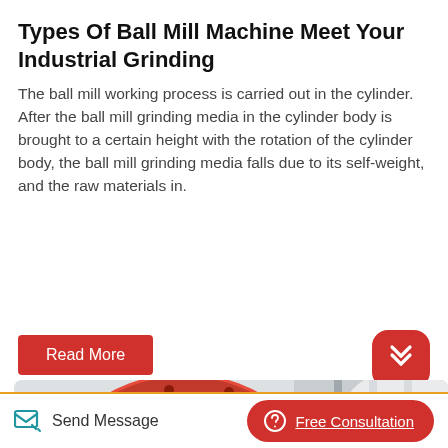Types Of Ball Mill Machine Meet Your Industrial Grinding
The ball mill working process is carried out in the cylinder. After the ball mill grinding media in the cylinder body is brought to a certain height with the rotation of the cylinder body, the ball mill grinding media falls due to its self-weight, and the raw materials in.
[Figure (photo): Red industrial ball mill machine cylinder with bolt holes and flanged opening, photographed in a factory/industrial setting with metal scaffolding visible in the background]
Send Message
Free Consultation